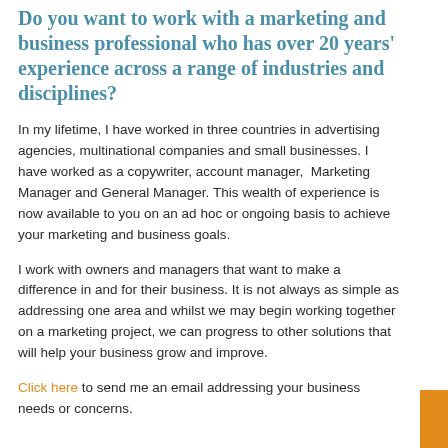Do you want to work with a marketing and business professional who has over 20 years' experience across a range of industries and disciplines?
In my lifetime, I have worked in three countries in advertising agencies, multinational companies and small businesses. I have worked as a copywriter, account manager, Marketing Manager and General Manager. This wealth of experience is now available to you on an ad hoc or ongoing basis to achieve your marketing and business goals.
I work with owners and managers that want to make a difference in and for their business. It is not always as simple as addressing one area and whilst we may begin working together on a marketing project, we can progress to other solutions that will help your business grow and improve.
Click here to send me an email addressing your business needs or concerns.